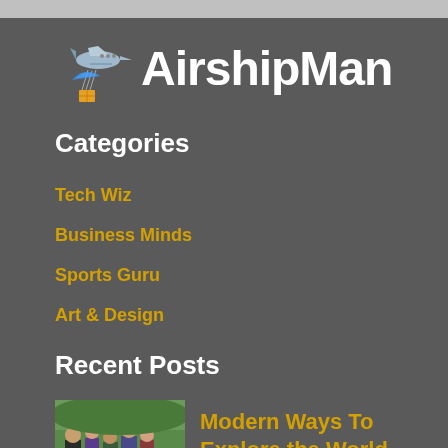[Figure (logo): AirshipMan logo with airplane and parachute package icon]
Categories
Tech Wiz
Business Minds
Sports Guru
Art & Design
Recent Posts
[Figure (photo): Group of young people outdoors in a city street]
Modern Ways To Explore the World